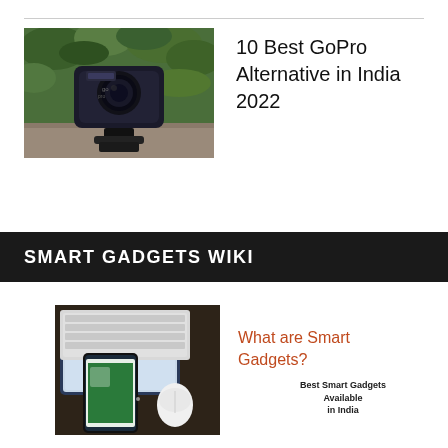[Figure (photo): GoPro action camera on a mount outdoors with green foliage background]
10 Best GoPro Alternative in India 2022
SMART GADGETS WIKI
[Figure (photo): Tablet, smartphone and wireless keyboard/mouse on a dark wooden desk]
What are Smart Gadgets?
Best Smart Gadgets Available in India